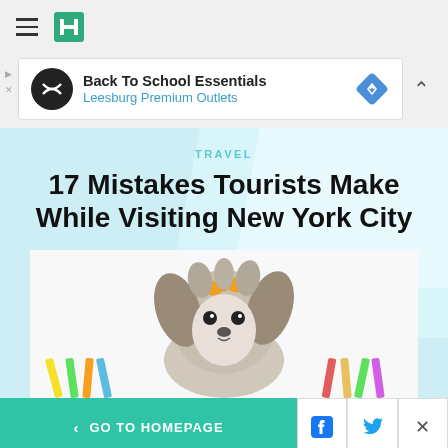HuffPost navigation bar with hamburger menu and logo
[Figure (screenshot): Advertisement banner: Back To School Essentials - Leesburg Premium Outlets with diamond icon]
TRAVEL
17 Mistakes Tourists Make While Visiting New York City
[Figure (photo): Small fluffy dog with orange bow accessory surrounded by colorful toothbrushes on white background]
< GO TO HOMEPAGE  [Facebook icon] [Twitter icon] [X close]